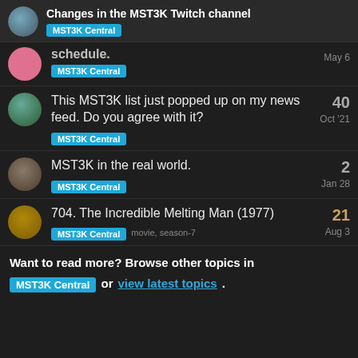Changes in the MST3K Twitch channel — MST3K Central
schedule. — MST3K Central — May 6
This MST3K list just popped up on my news feed. Do you agree with it? — MST3K Central — Oct '21 — 40 replies
MST3K in the real world. — MST3K Central — Jan 28 — 2 replies
704. The Incredible Melting Man (1977) — MST3K Central — movie, season-7 — Aug 3 — 21 replies
Want to read more? Browse other topics in MST3K Central or view latest topics.